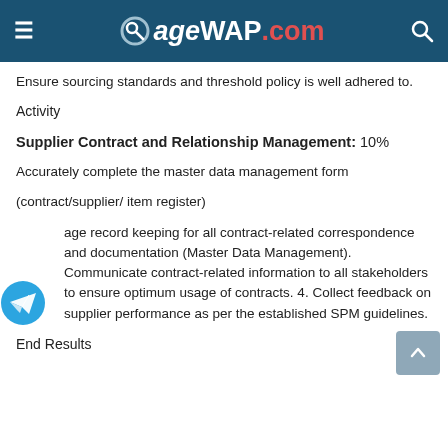SageWAP.com
Ensure sourcing standards and threshold policy is well adhered to.
Activity
Supplier Contract and Relationship Management: 10%
Accurately complete the master data management form
(contract/supplier/ item register)
age record keeping for all contract-related correspondence and documentation (Master Data Management).  Communicate contract-related information to all stakeholders to ensure optimum usage of contracts. 4. Collect feedback on supplier performance as per the established SPM guidelines.
End Results